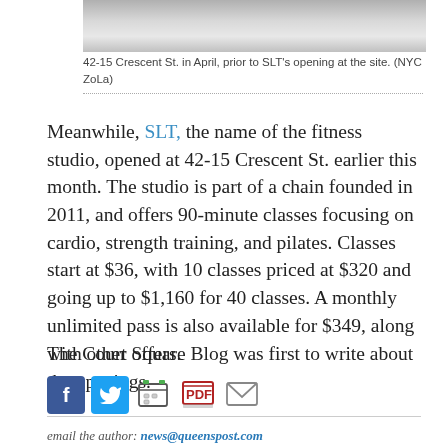[Figure (photo): Partial photo of 42-15 Crescent St. building interior or exterior, cropped at top]
42-15 Crescent St. in April, prior to SLT's opening at the site. (NYC ZoLa)
Meanwhile, SLT, the name of the fitness studio, opened at 42-15 Crescent St. earlier this month. The studio is part of a chain founded in 2011, and offers 90-minute classes focusing on cardio, strength training, and pilates. Classes start at $36, with 10 classes priced at $320 and going up to $1,160 for 40 classes. A monthly unlimited pass is also available for $349, along with other offers.
The Court Square Blog was first to write about the openings.
[Figure (infographic): Social sharing buttons: Facebook, Twitter, Print, PDF, Email]
email the author: news@queenspost.com